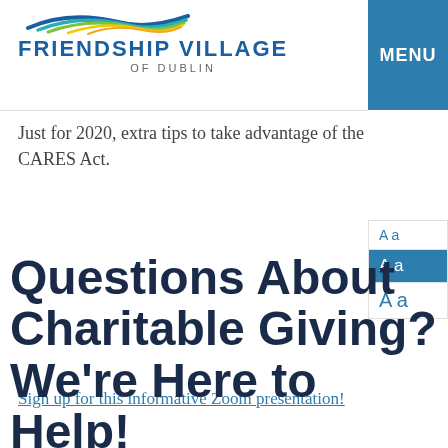Friendship Village of Dublin | MENU
Just for 2020, extra tips to take advantage of the CARES Act.
Sign up for this informative Zoom presentation!
Questions About Charitable Giving? We're Here to Help!